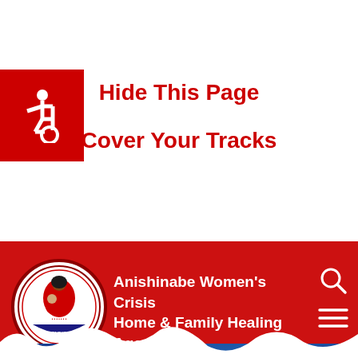[Figure (logo): Accessibility wheelchair icon on red square background]
Hide This Page
Cover Your Tracks
[Figure (logo): Beendigen Anishinabe Women's Crisis Home & Family Healing Agency circular logo with mother and child illustration]
Anishinabe Women's Crisis Home & Family Healing Agency
Events